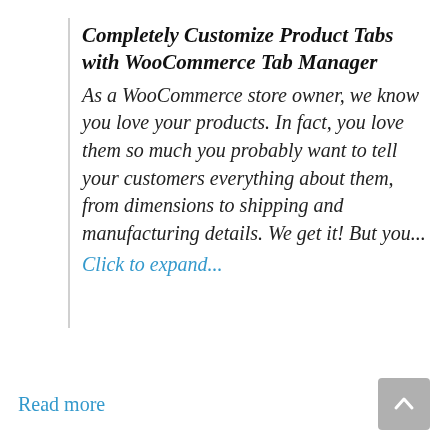Completely Customize Product Tabs with WooCommerce Tab Manager
As a WooCommerce store owner, we know you love your products. In fact, you love them so much you probably want to tell your customers everything about them, from dimensions to shipping and manufacturing details. We get it! But you...
Click to expand...
Read more